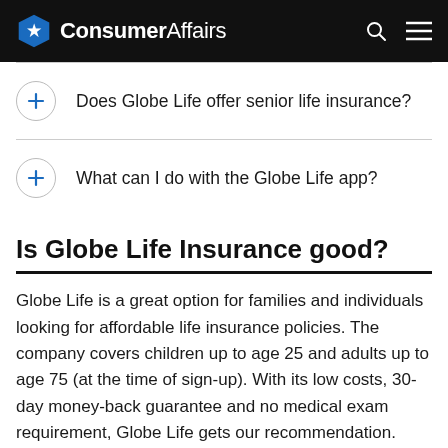ConsumerAffairs
Does Globe Life offer senior life insurance?
What can I do with the Globe Life app?
Is Globe Life Insurance good?
Globe Life is a great option for families and individuals looking for affordable life insurance policies. The company covers children up to age 25 and adults up to age 75 (at the time of sign-up). With its low costs, 30-day money-back guarantee and no medical exam requirement, Globe Life gets our recommendation.